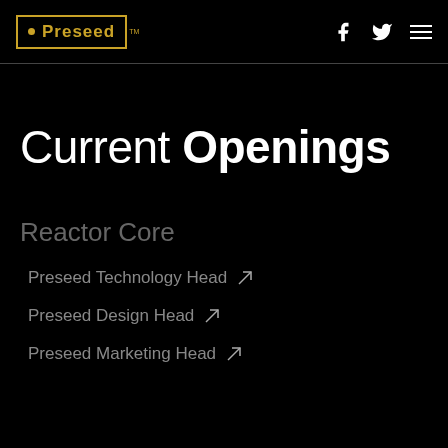Preseed [logo with Facebook, Twitter, Menu icons]
Current Openings
Reactor Core
Preseed Technology Head
Preseed Design Head
Preseed Marketing Head